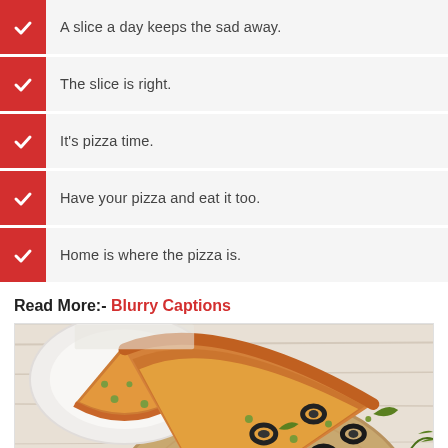A slice a day keeps the sad away.
The slice is right.
It's pizza time.
Have your pizza and eat it too.
Home is where the pizza is.
Read More:- Blurry Captions
[Figure (photo): Pizza slices with olives, capers, and arugula on a wooden board, with a white plate in the background on a light wood surface.]